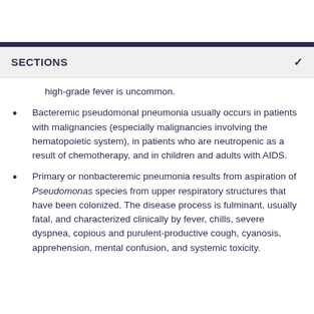SECTIONS
high-grade fever is uncommon.
Bacteremic pseudomonal pneumonia usually occurs in patients with malignancies (especially malignancies involving the hematopoietic system), in patients who are neutropenic as a result of chemotherapy, and in children and adults with AIDS.
Primary or nonbacteremic pneumonia results from aspiration of Pseudomonas species from upper respiratory structures that have been colonized. The disease process is fulminant, usually fatal, and characterized clinically by fever, chills, severe dyspnea, copious and purulent-productive cough, cyanosis, apprehension, mental confusion, and systemic toxicity.